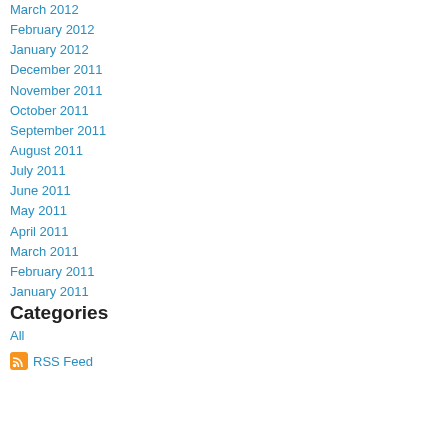March 2012
February 2012
January 2012
December 2011
November 2011
October 2011
September 2011
August 2011
July 2011
June 2011
May 2011
April 2011
March 2011
February 2011
January 2011
Categories
All
RSS Feed